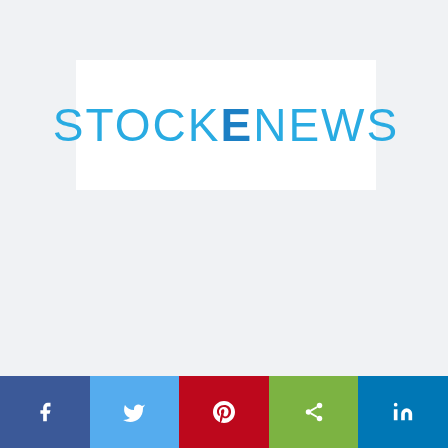[Figure (logo): StockENews logo — the word STOCKENEWS in large light blue sans-serif letters on a white rectangular background, with the letter E rendered in bold darker blue]
[Figure (infographic): Social media sharing bar at the bottom with five colored buttons: Facebook (dark blue, f icon), Twitter (light blue, bird icon), Pinterest (red, P icon), Share (green, share icon), LinkedIn (teal blue, in icon)]